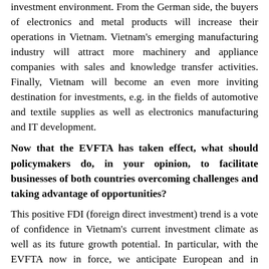investment environment. From the German side, the buyers of electronics and metal products will increase their operations in Vietnam. Vietnam's emerging manufacturing industry will attract more machinery and appliance companies with sales and knowledge transfer activities. Finally, Vietnam will become an even more inviting destination for investments, e.g. in the fields of automotive and textile supplies as well as electronics manufacturing and IT development.
Now that the EVFTA has taken effect, what should policymakers do, in your opinion, to facilitate businesses of both countries overcoming challenges and taking advantage of opportunities?
This positive FDI (foreign direct investment) trend is a vote of confidence in Vietnam's current investment climate as well as its future growth potential. In particular, with the EVFTA now in force, we anticipate European and in particular, German FDI, will continue to rise as more